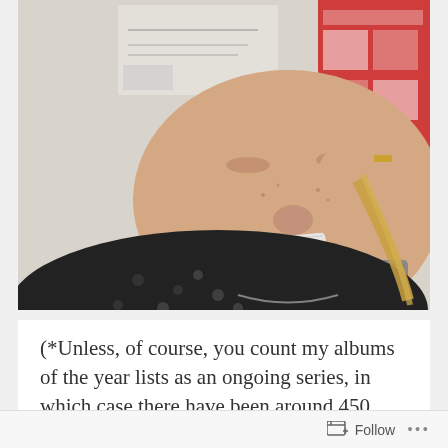[Figure (photo): A person lying down with a piece of tape or paper on their face/upper lip area, holding it with one hand, wearing a black polka-dot top and a metal watch. Background shows a poster or chart on a wall.]
(*Unless, of course, you count my albums of the year lists as an ongoing series, in which case there have been around 450 posts since 2007. 2007!! My girlfriend